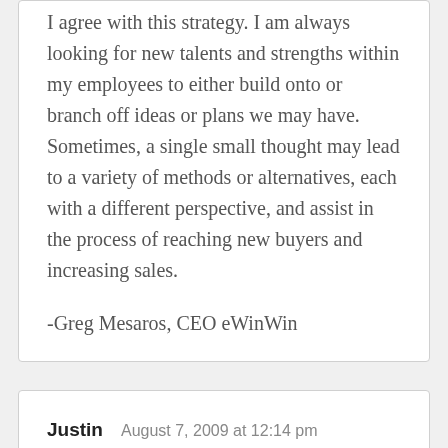I agree with this strategy. I am always looking for new talents and strengths within my employees to either build onto or branch off ideas or plans we may have. Sometimes, a single small thought may lead to a variety of methods or alternatives, each with a different perspective, and assist in the process of reaching new buyers and increasing sales.
-Greg Mesaros, CEO eWinWin
Justin
August 7, 2009 at 12:14 pm
Entrepreneur is definitely mindset. To get